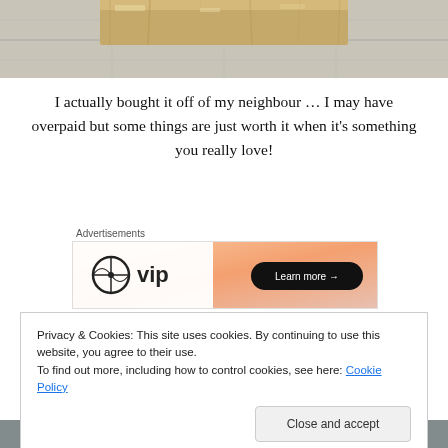[Figure (photo): Top portion of a weathered wooden piece with chipping paint on a tiled floor]
I actually bought it off of my neighbour … I may have overpaid but some things are just worth it when it's something you really love!
Advertisements
[Figure (other): WordPress VIP advertisement banner with gradient orange background and Learn more button]
I was quite taken with the dry wood and chipping paint.  It was missing some hardware but the ones that were on it
Privacy & Cookies: This site uses cookies. By continuing to use this website, you agree to their use.
To find out more, including how to control cookies, see here: Cookie Policy
[Figure (photo): Bottom photo strip showing a blurry scene]